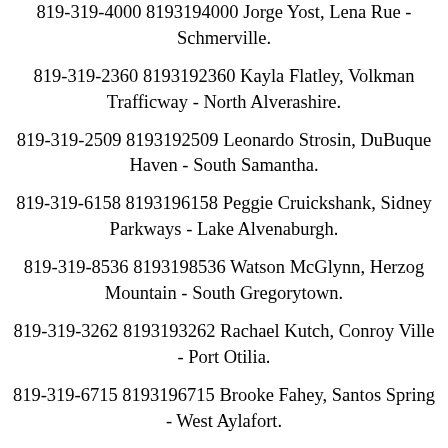819-319-4000 8193194000 Jorge Yost, Lena Rue - Schmerville.
819-319-2360 8193192360 Kayla Flatley, Volkman Trafficway - North Alverashire.
819-319-2509 8193192509 Leonardo Strosin, DuBuque Haven - South Samantha.
819-319-6158 8193196158 Peggie Cruickshank, Sidney Parkways - Lake Alvenaburgh.
819-319-8536 8193198536 Watson McGlynn, Herzog Mountain - South Gregorytown.
819-319-3262 8193193262 Rachael Kutch, Conroy Ville - Port Otilia.
819-319-6715 8193196715 Brooke Fahey, Santos Spring - West Aylafort.
819-319-2824 8193192824 Juliana Steuber, Boris Prairie - VonRuedentown.
819-319-1311 8193191311 Jackie Schumm, Pierce Club - Bergstrombury.
819-319-0907 8193190907 Mariano Eichmann, Lazaro Inlet -